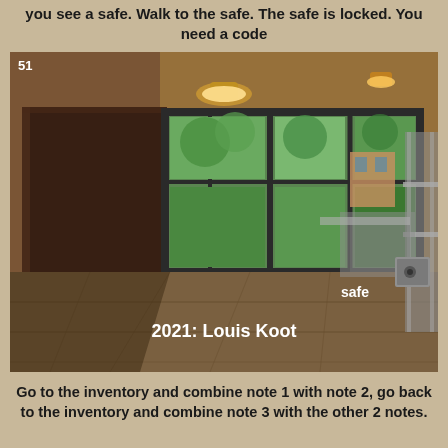you see a safe. Walk to the safe. The safe is locked. You need a code
[Figure (screenshot): In-game screenshot of a room interior with a dark wooden cabinet/door on the left, large glass windows showing green trees outside in the middle, metal shelving units and desks on the right. A small grey safe is visible in the center-right area with a white label 'safe'. Text overlay at bottom reads '2021: Louis Koot'. HUD shows '51' in top-left corner.]
Go to the inventory and combine note 1 with note 2, go back to the inventory and combine note 3 with the other 2 notes.